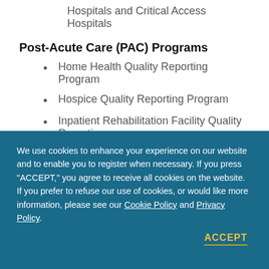Hospitals and Critical Access Hospitals
Post-Acute Care (PAC) Programs
Home Health Quality Reporting Program
Hospice Quality Reporting Program
Inpatient Rehabilitation Facility Quality Reporting
We use cookies to enhance your experience on our website and to enable you to register when necessary. If you press “ACCEPT,” you agree to receive all cookies on the website. If you prefer to refuse our use of cookies, or would like more information, please see our Cookie Policy and Privacy Policy.
ACCEPT